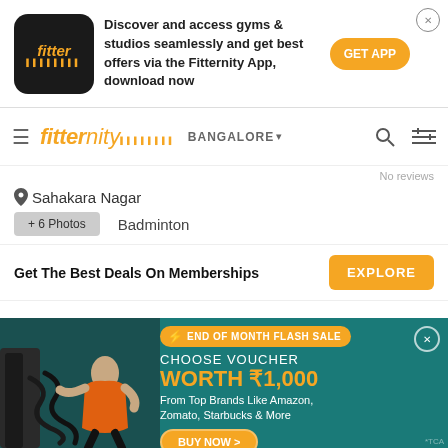[Figure (screenshot): Fitter app icon - black rounded square with orange 'fitter' text and decorative bars]
Discover and access gyms & studios seamlessly and get best offers via the Fitternity App, download now
GET APP
fitternity  BANGALORE
No reviews
Sahakara Nagar
+ 6 Photos
Badminton
Get The Best Deals On Memberships
EXPLORE
[Figure (photo): Man in orange vest doing battle rope exercise in gym, with teal background promotional banner for End of Month Flash Sale offering voucher worth Rs 1,000 from top brands like Amazon, Zomato, Starbucks & More]
END OF MONTH FLASH SALE
CHOOSE VOUCHER
WORTH ₹1,000
From Top Brands Like Amazon, Zomato, Starbucks & More
BUY NOW >
*TCA